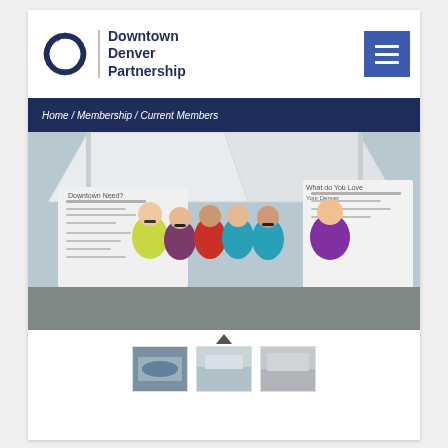Downtown Denver Partnership
Home / Membership / Current Members
[Figure (photo): Group of six people standing under a white event tent at an outdoor event, wearing matching teal t-shirts (plus one in red and one in a yellow-green jacket and one in a purple shirt), with whiteboards and signage in the background.]
[Figure (photo): Three thumbnail images showing event/membership scenes for the Downtown Denver Partnership.]